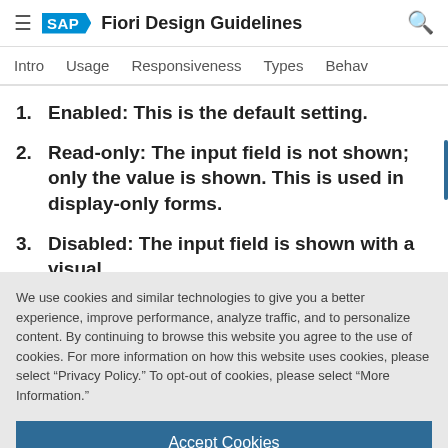SAP Fiori Design Guidelines
Intro   Usage   Responsiveness   Types   Behav
1. Enabled: This is the default setting.
2. Read-only: The input field is not shown; only the value is shown. This is used in display-only forms.
3. Disabled: The input field is shown with a visual
We use cookies and similar technologies to give you a better experience, improve performance, analyze traffic, and to personalize content. By continuing to browse this website you agree to the use of cookies. For more information on how this website uses cookies, please select “Privacy Policy.” To opt-out of cookies, please select “More Information.”
Accept Cookies
More Information
Privacy Policy | Powered by: TrustArc